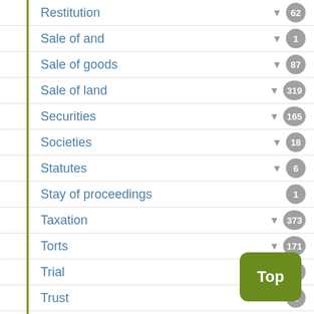Restitution 62
Sale of and 1
Sale of goods 87
Sale of land 319
Securities 165
Societies 18
Statutes 6
Stay of proceedings 1
Taxation 373
Torts 171
Trial 1
Trust 2
Trusts 80
Workers' compensation 32
Wrongful dismissal 1
Criminal 17369
Family 13621
Insurance
Labour & employment
Municipal 1962